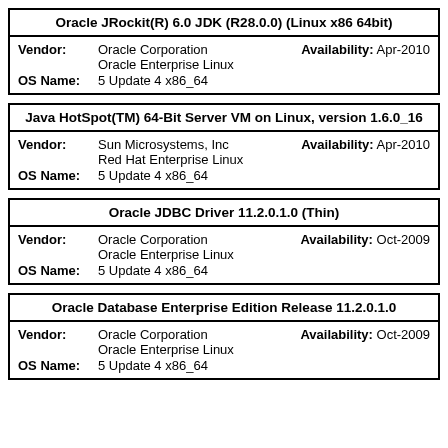| Oracle JRockit(R) 6.0 JDK (R28.0.0) (Linux x86 64bit) |
| Vendor: | Oracle Corporation | Availability: | Apr-2010 |
|  | Oracle Enterprise Linux |  |  |
| OS Name: | 5 Update 4 x86_64 |  |  |
| Java HotSpot(TM) 64-Bit Server VM on Linux, version 1.6.0_16 |
| Vendor: | Sun Microsystems, Inc | Availability: | Apr-2010 |
|  | Red Hat Enterprise Linux |  |  |
| OS Name: | 5 Update 4 x86_64 |  |  |
| Oracle JDBC Driver 11.2.0.1.0 (Thin) |
| Vendor: | Oracle Corporation | Availability: | Oct-2009 |
|  | Oracle Enterprise Linux |  |  |
| OS Name: | 5 Update 4 x86_64 |  |  |
| Oracle Database Enterprise Edition Release 11.2.0.1.0 |
| Vendor: | Oracle Corporation | Availability: | Oct-2009 |
|  | Oracle Enterprise Linux |  |  |
| OS Name: | 5 Update 4 x86_64 |  |  |